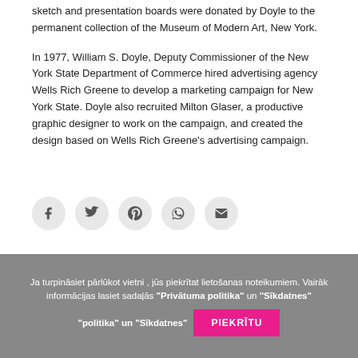sketch and presentation boards were donated by Doyle to the permanent collection of the Museum of Modern Art, New York.
In 1977, William S. Doyle, Deputy Commissioner of the New York State Department of Commerce hired advertising agency Wells Rich Greene to develop a marketing campaign for New York State. Doyle also recruited Milton Glaser, a productive graphic designer to work on the campaign, and created the design based on Wells Rich Greene's advertising campaign.
[Figure (other): Social share icons: Facebook, Twitter, Pinterest, WhatsApp, Email]
Ja turpināsiet pārlūkot vietni , jūs piekrītat lietošanas noteikumiem. Vairāk informācijas lasiet sadaļās "Privātuma politika" un "Sīkdatnes" PIEKRĪTU